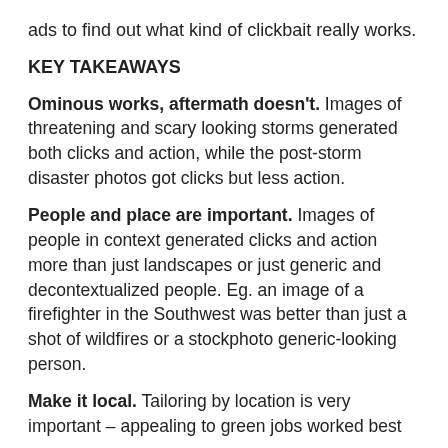ads to find out what kind of clickbait really works.
KEY TAKEAWAYS
Ominous works, aftermath doesn't. Images of threatening and scary looking storms generated both clicks and action, while the post-storm disaster photos got clicks but less action.
People and place are important. Images of people in context generated clicks and action more than just landscapes or just generic and decontextualized people. Eg. an image of a firefighter in the Southwest was better than just a shot of wildfires or a stockphoto generic-looking person.
Make it local. Tailoring by location is very important – appealing to green jobs worked best